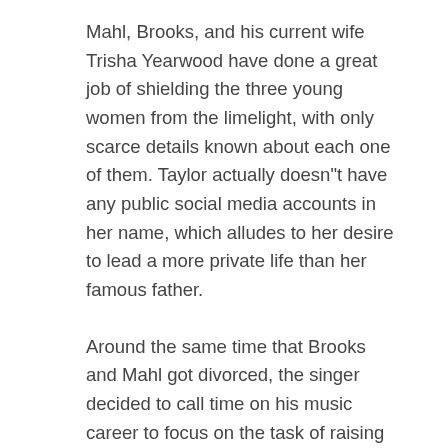Mahl, Brooks, and his current wife Trisha Yearwood have done a great job of shielding the three young women from the limelight, with only scarce details known about each one of them. Taylor actually doesn"t have any public social media accounts in her name, which alludes to her desire to lead a more private life than her famous father.
Around the same time that Brooks and Mahl got divorced, the singer decided to call time on his music career to focus on the task of raising Taylor and her two sisters. In an interview he gave to People Magazine in 2015, Brooks said that he could not compare the privilege of being a father to his daughters to any other achievement he had made.
Greatest Joy And Greatest Headache
"Kids are the greatest joy and the greatest heartache